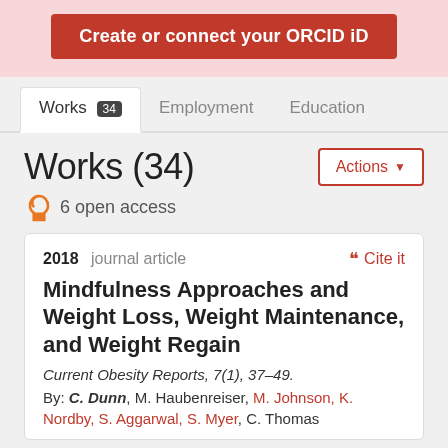[Figure (screenshot): ORCID iD button: 'Create or connect your ORCID iD' on a red background]
Works 34  Employment  Education
Works (34)
6 open access
2018 journal article
Cite it
Mindfulness Approaches and Weight Loss, Weight Maintenance, and Weight Regain
Current Obesity Reports, 7(1), 37–49.
By: C. Dunn, M. Haubenreiser, M. Johnson, K. Nordby, S. Aggarwal, S. Myer, C. Thomas